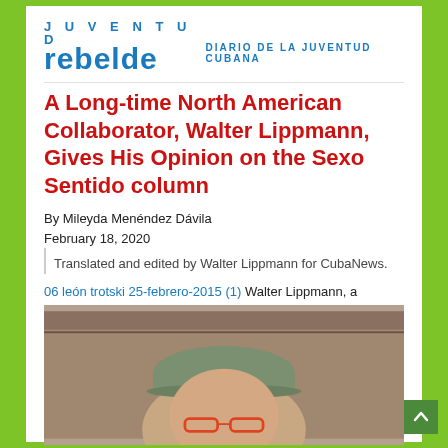[Figure (logo): Juventud Rebelde newspaper logo with tagline DIARIO DE LA JUVENTUD CUBANA]
A Long-time North American Collaborator, Walter Lippmann, Gives His Opinion on the Sexo Sentido column
By Mileyda Menéndez Dávila
February 18, 2020
Translated and edited by Walter Lippmann for CubaNews.
06 león trotski 25-febrero-2015 (1) Walter Lippmann, a
[Figure (photo): Photo of a person wearing a green cap and red-framed glasses]